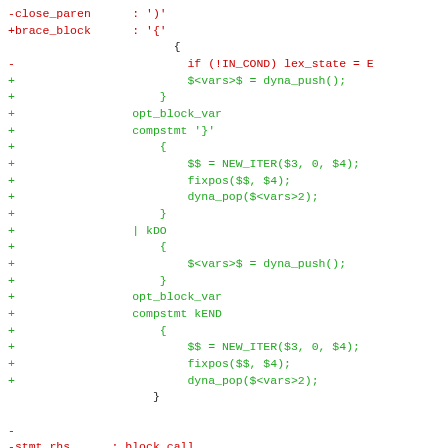Diff/patch code showing removed lines (red) and added lines (green) for grammar rule changes involving close_paren, brace_block, stmt_rhs, and case_body.